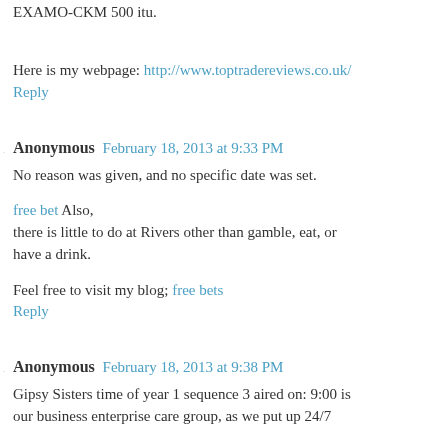EXAMO-CKM 500 itu.
Here is my webpage: http://www.toptradereviews.co.uk/
Reply
Anonymous February 18, 2013 at 9:33 PM
No reason was given, and no specific date was set.
free bet Also, there is little to do at Rivers other than gamble, eat, or have a drink.
Feel free to visit my blog; free bets
Reply
Anonymous February 18, 2013 at 9:38 PM
Gipsy Sisters time of year 1 sequence 3 aired on: 9:00 is our business enterprise care group, as we put up 24/7